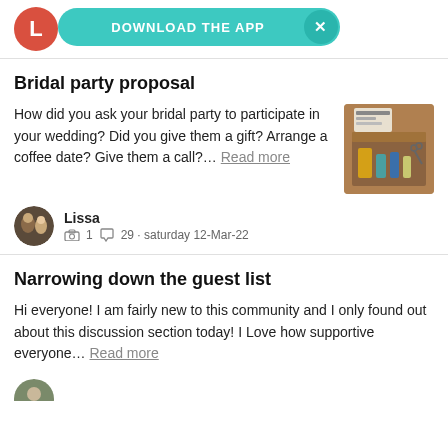Libe... DOWNLOAD THE APP ×
Bridal party proposal
How did you ask your bridal party to participate in your wedding? Did you give them a gift? Arrange a coffee date? Give them a call?… Read more
[Figure (photo): Thumbnail image of a gift box with items inside]
Lissa
📷 1  💬 29  ·  saturday 12-Mar-22
Narrowing down the guest list
Hi everyone! I am fairly new to this community and I only found out about this discussion section today! I Love how supportive everyone… Read more